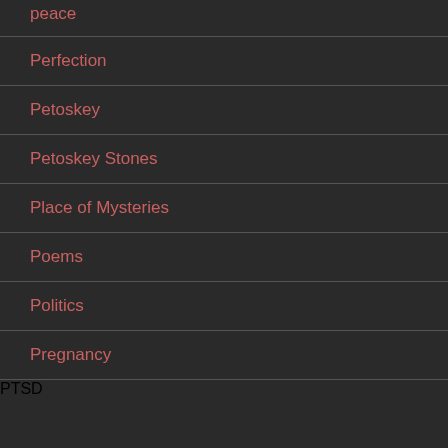peace
Perfection
Petoskey
Petoskey Stones
Place of Mysteries
Poems
Politics
Pregnancy
PTSD